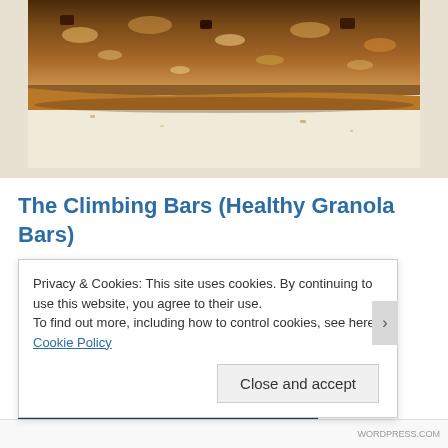[Figure (photo): Close-up photo of a granola bar on white parchment paper, showing oats, nuts, and chocolate chunks]
The Climbing Bars (Healthy Granola Bars)
4 Replies
Privacy & Cookies: This site uses cookies. By continuing to use this website, you agree to their use.
To find out more, including how to control cookies, see here: Cookie Policy
Close and accept